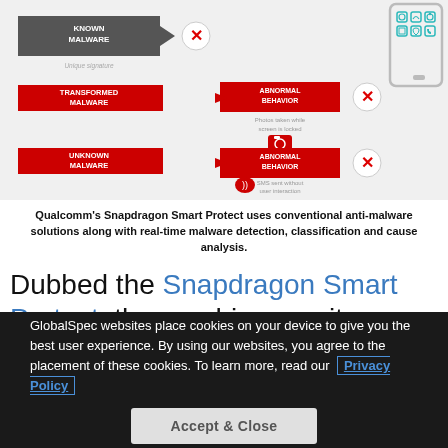[Figure (infographic): Qualcomm Snapdragon Smart Protect malware detection diagram showing Known Malware (unique signature), Transformed Malware, and Unknown Malware being detected as Abnormal Behavior, alongside a smartphone illustration with app icons.]
Qualcomm's Snapdragon Smart Protect uses conventional anti-malware solutions along with real-time malware detection, classification and cause analysis.
Dubbed the Snapdragon Smart Protect, the on-chip security features will work to improve personal privacy and device security on
GlobalSpec websites place cookies on your device to give you the best user experience. By using our websites, you agree to the placement of these cookies. To learn more, read our Privacy Policy
Accept & Close